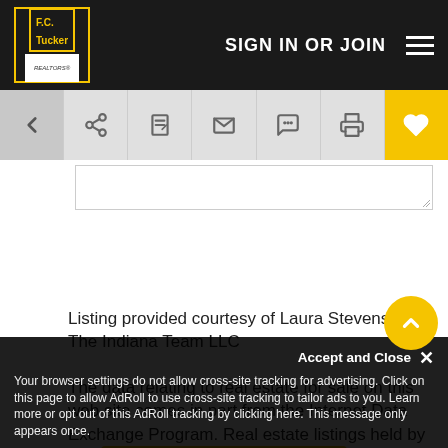[Figure (screenshot): F.C. Tucker real estate website navigation bar with logo, SIGN IN OR JOIN text, and hamburger menu]
[Figure (screenshot): Toolbar with back arrow, share, edit, email, chat, print, and favorite (heart) icons in yellow]
[Figure (screenshot): Text area input field with resize handle]
[Figure (screenshot): Yellow Send message button]
Listing provided courtesy of Laura Stevens with The Indiana Team LLC
The data relating to real estate for sale on this web site comes in part from the Internet Data Exchange Program. Real estate listings held by IDX Brokerage firms other than F.C. Tucker Company include the name of the listing IDX broker. This information is provided exclusively for personal, non-commercial use and may not be used for any purpose other than to identify prospective properties consumers may be interested in purchasing. The broker
Accept and Close ×
Your browser settings do not allow cross-site tracking for advertising. Click on this page to allow AdRoll to use cross-site tracking to tailor ads to you. Learn more or opt out of this AdRoll tracking by clicking here. This message only appears once.